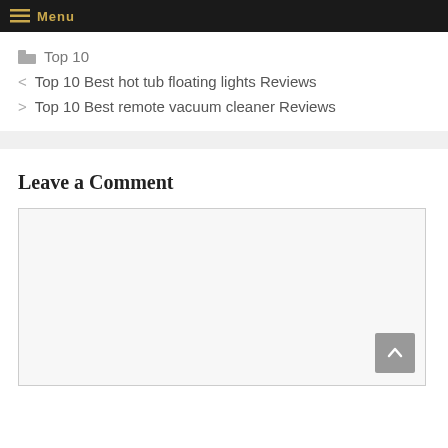Menu
Top 10
< Top 10 Best hot tub floating lights Reviews
> Top 10 Best remote vacuum cleaner Reviews
Leave a Comment
[Figure (other): Empty comment text area input box with scroll-to-top button in bottom right corner]